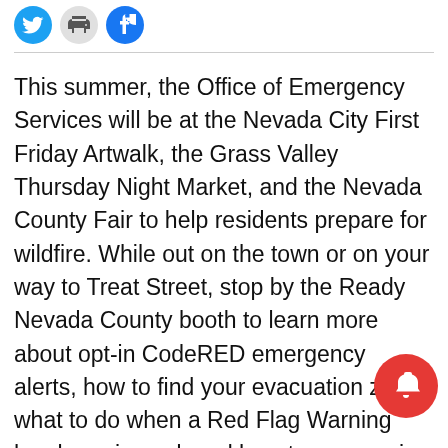[Figure (other): Social media sharing icons: Twitter (blue bird), Print (gray printer), Facebook (blue f)]
This summer, the Office of Emergency Services will be at the Nevada City First Friday Artwalk, the Grass Valley Thursday Night Market, and the Nevada County Fair to help residents prepare for wildfire. While out on the town or on your way to Treat Street, stop by the Ready Nevada County booth to learn more about opt-in CodeRED emergency alerts, how to find your evacuation zone, what to do when a Red Flag Warning has been issued, and how to prepare in advance of a prolonged planned power outage due to extreme fire weather. Running errands? Ready Nevada County emergency preparedness materials are also available at the Eric Road Administration